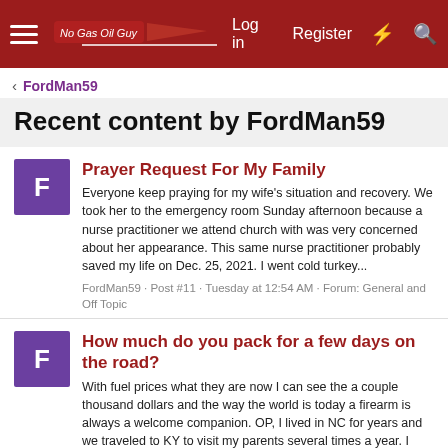Navigation bar with hamburger menu, logo, Log in, Register, and icon links
FordMan59
Recent content by FordMan59
Prayer Request For My Family
Everyone keep praying for my wife's situation and recovery. We took her to the emergency room Sunday afternoon because a nurse practitioner we attend church with was very concerned about her appearance. This same nurse practitioner probably saved my life on Dec. 25, 2021. I went cold turkey...
FordMan59 · Post #11 · Tuesday at 12:54 AM · Forum: General and Off Topic
How much do you pack for a few days on the road?
With fuel prices what they are now I can see the a couple thousand dollars and the way the world is today a firearm is always a welcome companion. OP, I lived in NC for years and we traveled to KY to visit my parents several times a year. I was driving a '97 Ford Escort station wagon on the...